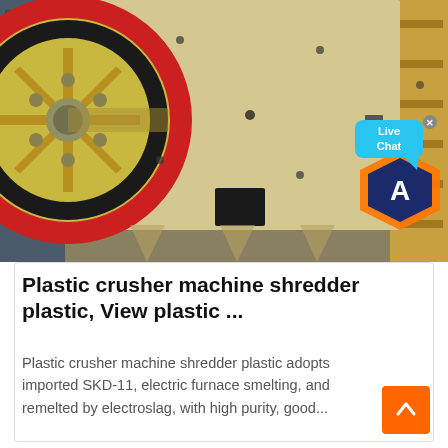[Figure (photo): Industrial crusher/shredder machine with large red and black flywheel pulley on the left side, cream/yellow painted metal body with bolts, industrial equipment in a factory setting. A live chat widget overlay appears in the bottom right corner with an orange hexagon logo and cyan speech bubble.]
Plastic crusher machine shredder plastic, View plastic ...
Plastic crusher machine shredder plastic adopts imported SKD-11, electric furnace smelting, and remelted by electroslag, with high purity, good...